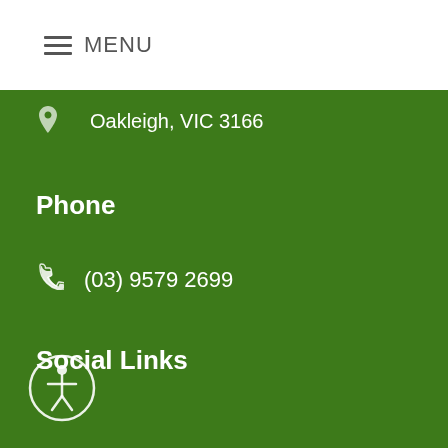MENU
Oakleigh, VIC 3166
Phone
(03) 9579 2699
Social Links
[Figure (illustration): Accessibility icon - person in circle at bottom left of green section]